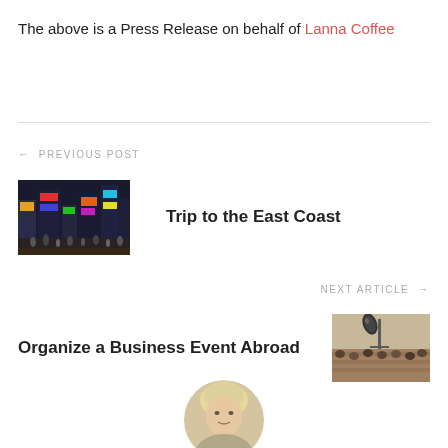The above is a Press Release on behalf of Lanna Coffee
← PREVIOUS POST
[Figure (photo): Busy city street scene with colorful billboards and crowds, Times Square style]
Trip to the East Coast
NEXT ARTICLE →
Organize a Business Event Abroad
[Figure (photo): Microphone on a stand in front of an audience at a business conference]
[Figure (photo): Circular avatar portrait of a person with light hair]